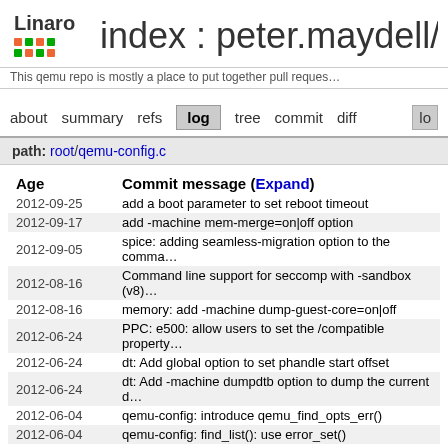index : peter.maydell/qe...
This qemu repo is mostly a place to put together pull reques...
about  summary  refs  log  tree  commit  diff
path: root/qemu-config.c
| Age | Commit message (Expand) |
| --- | --- |
| 2012-09-25 | add a boot parameter to set reboot timeout |
| 2012-09-17 | add -machine mem-merge=on|off option |
| 2012-09-05 | spice: adding seamless-migration option to the comma... |
| 2012-08-16 | Command line support for seccomp with -sandbox (v8)... |
| 2012-08-16 | memory: add -machine dump-guest-core=on|off |
| 2012-06-24 | PPC: e500: allow users to set the /compatible proper... |
| 2012-06-24 | dt: Add global option to set phandle start offset |
| 2012-06-24 | dt: Add -machine dumpdtb option to dump the current d... |
| 2012-06-04 | qemu-config: introduce qemu_find_opts_err() |
| 2012-06-04 | qemu-config: find_list(): use error_set() |
| 2012-06-04 | qemu-option: qemu_opts_create(): use error_set() |
| 2012-03-02 | arm: add device tree support |
| 2012-02-22 | Make kernel, initrd and append be machine_opts |
| 2012-02-17 | Make -machine/-enable-kvm options merge into a sing... |
| 2012-02-15 | Merge remote-tracking branch 'qemu-kvm/uq/master' in... |